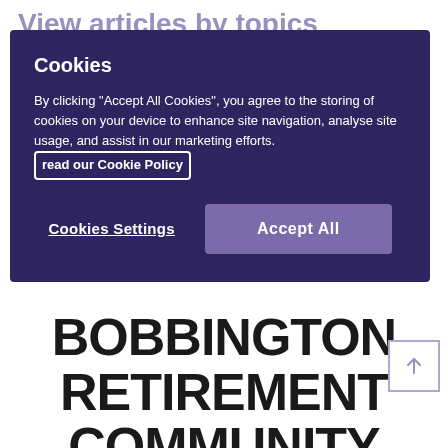View articles by topics
Cookies
By clicking "Accept All Cookies", you agree to the storing of cookies on your device to enhance site navigation, analyse site usage, and assist in our marketing efforts. read our Cookie Policy
Cookies Settings
Accept All
BOBBINGTON RETIREMENT COMMUNITY AWARDED TOP HYGIENE RATING